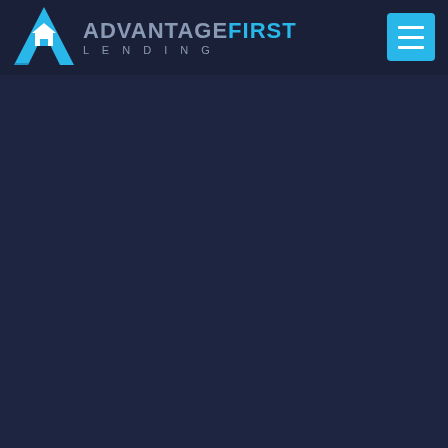[Figure (logo): Advantage First Lending logo: a blue stylized 'A' letter with a house icon inside, followed by the text 'ADVANTAGE' in gray and 'FIRST' in cyan/blue, with 'LENDING' in spaced gray letters below.]